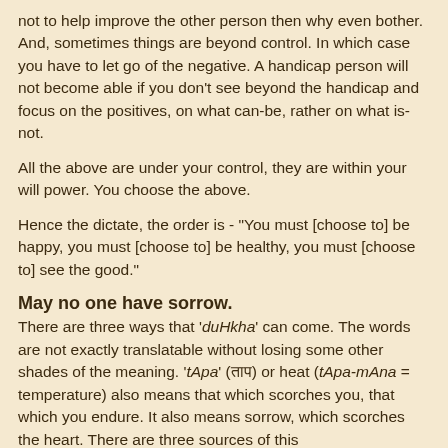not to help improve the other person then why even bother. And, sometimes things are beyond control. In which case you have to let go of the negative. A handicap person will not become able if you don't see beyond the handicap and focus on the positives, on what can-be, rather on what is-not.
All the above are under your control, they are within your will power. You choose the above.
Hence the dictate, the order is - "You must [choose to] be happy, you must [choose to] be healthy, you must [choose to] see the good."
May no one have sorrow.
There are three ways that 'duHkha' can come. The words are not exactly translatable without losing some other shades of the meaning. 'tApa' (ताप) or heat (tApa-mAna = temperature) also means that which scorches you, that which you endure. It also means sorrow, which scorches the heart. There are three sources of this sorrow/calamity/bad-state - self-inflicted (AdhyAtmika, आध्यात्मिक), inflicted by